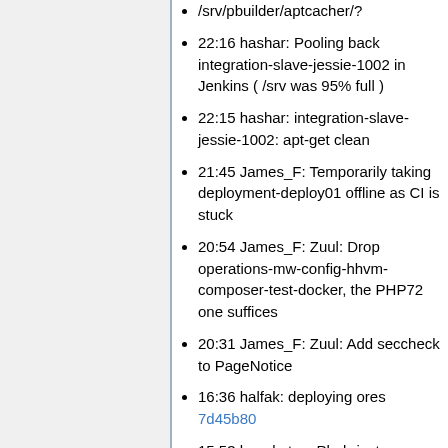/srv/pbuilder/aptcacher/?
22:16 hashar: Pooling back integration-slave-jessie-1002 in Jenkins ( /srv was 95% full )
22:15 hashar: integration-slave-jessie-1002: apt-get clean
21:45 James_F: Temporarily taking deployment-deploy01 offline as CI is stuck
20:54 James_F: Zuul: Drop operations-mw-config-hhvm-composer-test-docker, the PHP72 one suffices
20:31 James_F: Zuul: Add seccheck to PageNotice
16:36 halfak: deploying ores 7d45b80
15:53 hauskatze: Phabricator: Switched articlequality, drafttopic, draftquality and editquality Diffusion